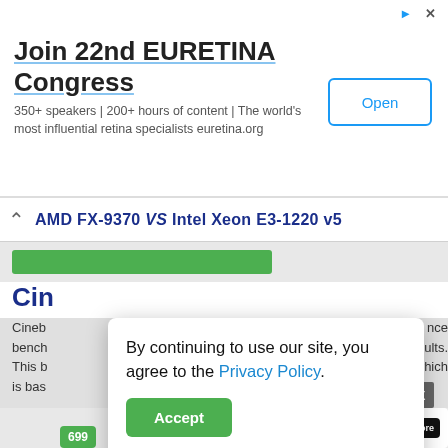[Figure (screenshot): Advertisement banner for Join 22nd EURETINA Congress with Open button]
Join 22nd EURETINA Congress
350+ speakers | 200+ hours of content | The world's most influential retina specialists euretina.org
AMD FX-9370 VS Intel Xeon E3-1220 v5
Cin
By continuing to use our site, you agree to the Privacy Policy.
Accept
Cineb ... nce bench ... sults. This b ... which is bas
[Figure (screenshot): Channable advertisement: Feed management super powers with Learn More button]
Channable
Feed management super powers
Learn More
699